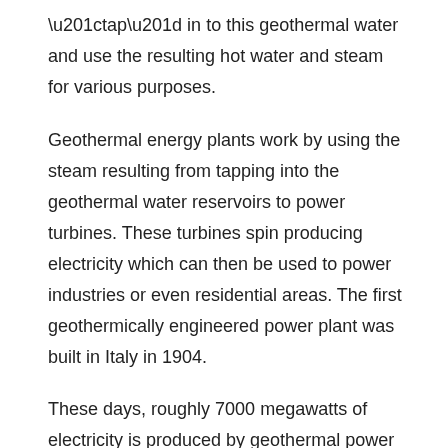“tap” in to this geothermal water and use the resulting hot water and steam for various purposes.
Geothermal energy plants work by using the steam resulting from tapping into the geothermal water reservoirs to power turbines. These turbines spin producing electricity which can then be used to power industries or even residential areas. The first geothermically engineered power plant was built in Italy in 1904.
These days, roughly 7000 megawatts of electricity is produced by geothermal power plants per year. Geothermal power plants are located in 21 countries throughout the world. In the United States alone, enough geothermal power is generated per year to be the equivalent to the burning of 60 million barrels of oil, to wit, geothermal energy is a major source of power.
Geothermal energy has been used by cultures throughout history for thousands of years. The process used to harness geothermal